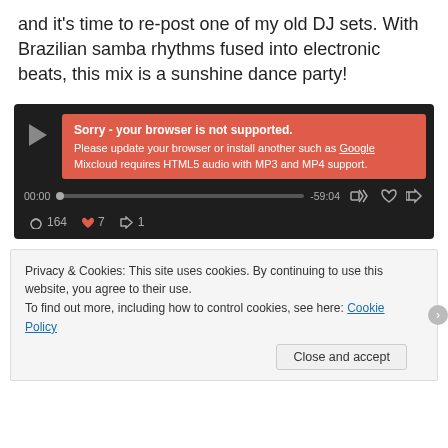and it's time to re-post one of my old DJ sets. With Brazilian samba rhythms fused into electronic beats, this mix is a sunshine dance party!
[Figure (screenshot): Mixcloud audio player widget with dark background showing a play button, error message in red/salmon box: 'Sorry - your browser is not supported. Please update your browser or install another such as Google. Mixcloud requires HTML5 audio with MP3 and MP4 support.' Progress bar showing 00:00 to -59:04. Stats: 164 listens, 7 favorites, 1 repost.]
Privacy & Cookies: This site uses cookies. By continuing to use this website, you agree to their use.
To find out more, including how to control cookies, see here: Cookie Policy
Close and accept